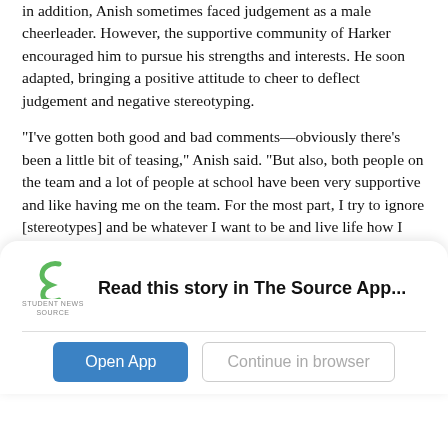in addition, Anish sometimes faced judgement as a male cheerleader. However, the supportive community of Harker encouraged him to pursue his strengths and interests. He soon adapted, bringing a positive attitude to cheer to deflect judgement and negative stereotyping.
“I’ve gotten both good and bad comments—obviously there’s been a little bit of teasing,” Anish said. “But also, both people on the team and a lot of people at school have been very supportive and like having me on the team. For the most part, I try to ignore [stereotypes] and be whatever I want to be and live life how I want to.”
Through the difficulties of cheer, Anish was able to discover more about himself and grow as a person. Cheer taught Anish to develop the courage to try whatever he wanted and take pride in it.
[Figure (logo): Student News Source logo with green S-shaped icon and text 'STUDENT NEWS SOURCE' below]
Read this story in The Source App...
Open App
Continue in browser